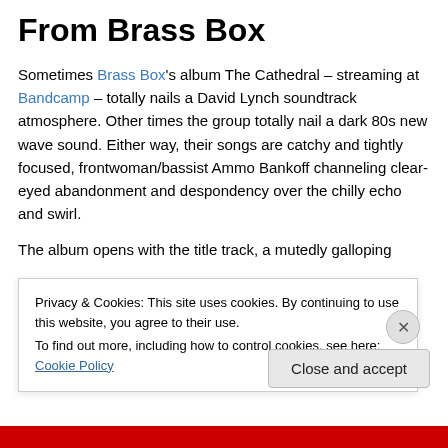From Brass Box
Sometimes Brass Box's album The Cathedral – streaming at Bandcamp – totally nails a David Lynch soundtrack atmosphere. Other times the group totally nail a dark 80s new wave sound. Either way, their songs are catchy and tightly focused, frontwoman/bassist Ammo Bankoff channeling clear-eyed abandonment and despondency over the chilly echo and swirl.
The album opens with the title track, a mutedly galloping
Privacy & Cookies: This site uses cookies. By continuing to use this website, you agree to their use.
To find out more, including how to control cookies, see here: Cookie Policy